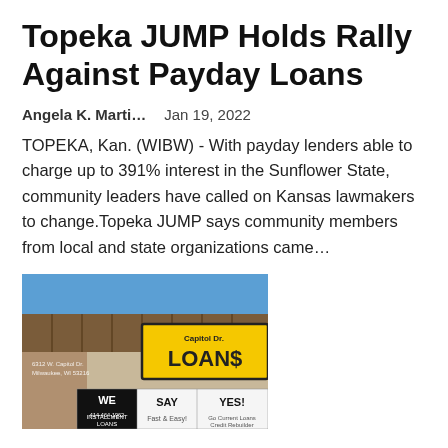Topeka JUMP Holds Rally Against Payday Loans
Angela K. Marti...    Jan 19, 2022
TOPEKA, Kan. (WIBW) - With payday lenders able to charge up to 391% interest in the Sunflower State, community leaders have called on Kansas lawmakers to change.Topeka JUMP says community members from local and state organizations came...
[Figure (photo): Exterior of Capitol Dr. Loans storefront in Milwaukee, WI. Address 6312 W. Capitol Dr, Milwaukee, WI 53216. Sign reads 'Capitol Dr. LOANS' in yellow and black. Below: 'WE SAY YES! INSTALLMENT LOANS, 414-464-1962, Fast & Easy!, Go Current Loans, Credit Rebuilder']
Capitol Drive Loans offers payday loans in Milwaukee, WI